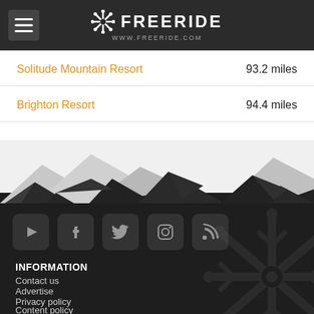FREERIDE www.freeride.com
Solitude Mountain Resort   93.2 miles
Brighton Resort   94.4 miles
[Figure (illustration): Mountain silhouette illustration — low-poly grey and dark mountain peaks against white background, transitioning into dark footer]
[Figure (infographic): Social media icons row: YouTube, Facebook, Twitter, Instagram, RSS — rounded square dark grey buttons]
INFORMATION
Contact us
Advertise
Privacy policy
Content policy